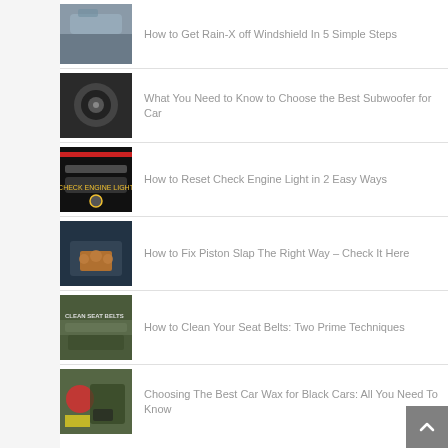How to Get Rain-X off Windshield In 5 Simple Steps
What You Need to Know to Choose the Best Subwoofer for Car
How to Reset Check Engine Light in 2 Easy Ways
How to Fix Piston Slap The Right Way – Check It Here
How to Clean Your Seat Belts: Two Prime Techniques
Choosing The Best Car Wax for Black Cars: All You Need To Know